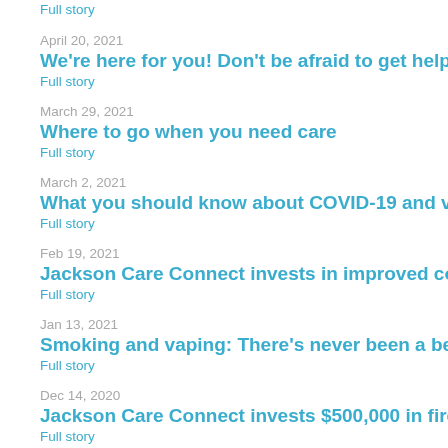Full story
April 20, 2021
We’re here for you! Don’t be afraid to get help for alco…
Full story
March 29, 2021
Where to go when you need care
Full story
March 2, 2021
What you should know about COVID-19 and vaccinati…
Full story
Feb 19, 2021
Jackson Care Connect invests in improved communit…
Full story
Jan 13, 2021
Smoking and vaping: There’s never been a better tim…
Full story
Dec 14, 2020
Jackson Care Connect invests $500,000 in fire relief a…
Full story